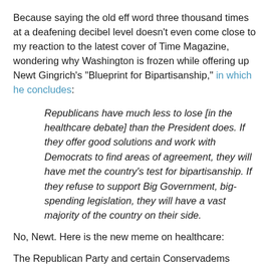Because saying the old eff word three thousand times at a deafening decibel level doesn't even come close to my reaction to the latest cover of Time Magazine, wondering why Washington is frozen while offering up Newt Gingrich's "Blueprint for Bipartisanship," in which he concludes:
Republicans have much less to lose [in the healthcare debate] than the President does. If they offer good solutions and work with Democrats to find areas of agreement, they will have met the country's test for bipartisanship. If they refuse to support Big Government, big-spending legislation, they will have a vast majority of the country on their side.
No, Newt. Here is the new meme on healthcare:
The Republican Party and certain Conservadems refuse to regulate the extremely greedy and bad-for-Americans